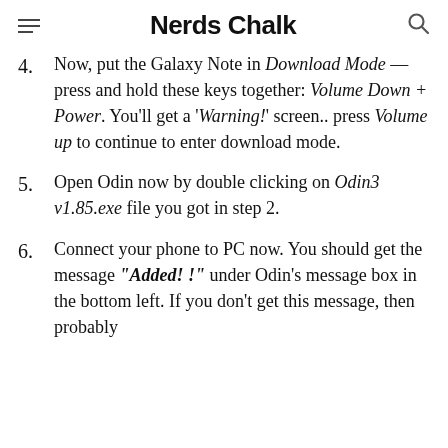Nerds Chalk
Now, put the Galaxy Note in Download Mode — press and hold these keys together: Volume Down + Power. You'll get a 'Warning!' screen.. press Volume up to continue to enter download mode.
Open Odin now by double clicking on Odin3 v1.85.exe file you got in step 2.
Connect your phone to PC now. You should get the message "Added! !" under Odin's message box in the bottom left. If you don't get this message, then probably